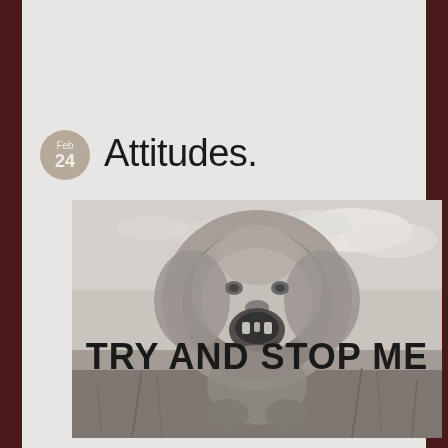Attitudes.
[Figure (photo): Black and white photo of a roaring lion facing forward, with open mouth showing teeth, set against a sky with clouds and dry grass/savanna background. Large bold text overlay reads 'TRY AND STOP ME' across the lower portion of the image. A circular date badge in the upper-left reads 'Feb 24'.]